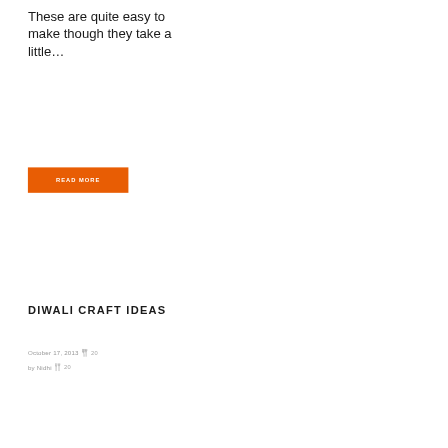These are quite easy to make though they take a little...
READ MORE
DIWALI CRAFT IDEAS
October 17, 2013  🍴  20
by Nidhi  🍴  20